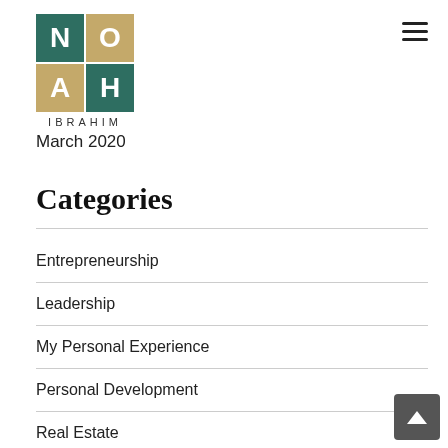[Figure (logo): NOAH IBRAHIM logo: 2x2 grid of squares with letters N (teal), O (gold), A (gold), H (teal), with IBRAHIM text below]
March 2020
Categories
Entrepreneurship
Leadership
My Personal Experience
Personal Development
Real Estate
Renewable Energy